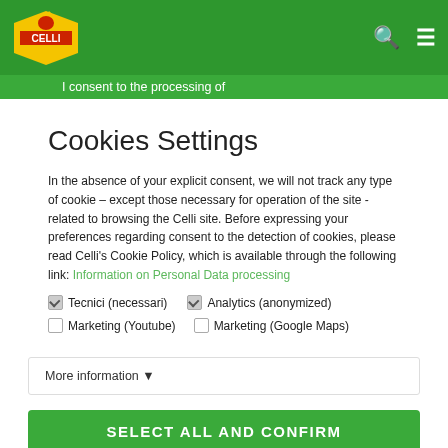[Figure (logo): Celli brand logo with rooster on yellow/red background]
I consent to the processing of
Cookies Settings
In the absence of your explicit consent, we will not track any type of cookie – except those necessary for operation of the site - related to browsing the Celli site. Before expressing your preferences regarding consent to the detection of cookies, please read Celli's Cookie Policy, which is available through the following link: Information on Personal Data processing
Tecnici (necessari)
Analytics (anonymized)
Marketing (Youtube)
Marketing (Google Maps)
More information ▼
SELECT ALL AND CONFIRM